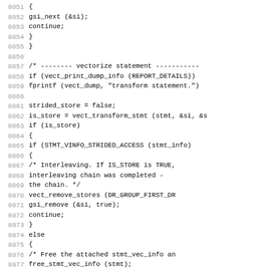Source code listing lines 8051-8082 showing C/C++ vectorization code with line numbers, including gsi_next, continue, vectorize statement comment, vect_print_dump_info, fprintf, strided_store, vect_transform_stmt, is_store, STMT_VINFO_STRIDED_ACCESS, interleaving comments, vect_remove_stores, gsi_remove, free_stmt_vec_info blocks